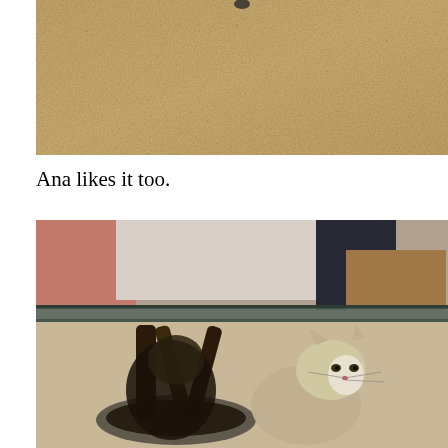[Figure (photo): A photo showing carpet/floor surface with a beige/tan textured carpet, with a small dark object visible at top center.]
Ana likes it too.
[Figure (photo): A photo of a cat sitting underneath a round glass coffee table supported by a dark ornate base. The cat appears to be a tabby/white cat. In the background a living room with furniture is visible.]